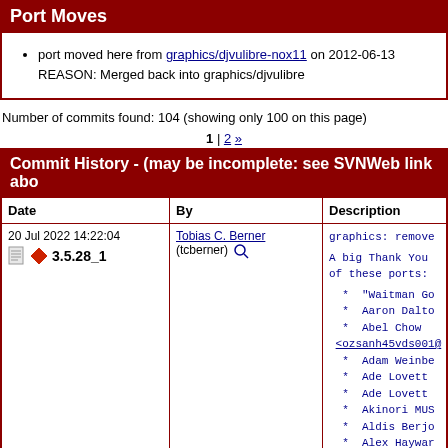Port Moves
port moved here from graphics/djvulibre-nox11 on 2012-06-13
REASON: Merged back into graphics/djvulibre
Number of commits found: 104 (showing only 100 on this page)
1 | 2 »
Commit History - (may be incomplete: see SVNWeb link abo...
| Date | By | Description |
| --- | --- | --- |
| 20 Jul 2022 14:22:04
[icons] 3.5.28_1 | Tobias C. Berner (tcberner) [search] | graphics: remove

A big Thank You
of these ports:

 * "Waitman Go
 * Aaron Dalto
 * Abel Chow
<ozsanh45vds001@
 * Adam Weinbe
 * Ade Lovett 
 * Ade Lovett 
 * Akinori MUS
 * Aldis Berjo
 * Alex Haywar
 * Alex Ivasyu
 * Alex Samoru |